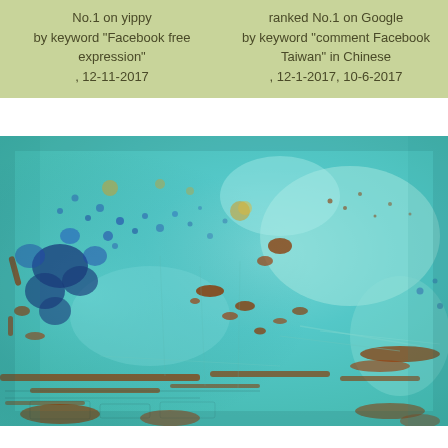No.1 on yippy by keyword "Facebook free expression" , 12-11-2017
ranked No.1 on Google by keyword "comment Facebook Taiwan" in Chinese , 12-1-2017, 10-6-2017
[Figure (photo): Abstract painting with turquoise/cyan blue background featuring splashes, blotches, and streaks of rust-orange, dark blue, and gold colors creating a textured, weathered appearance.]